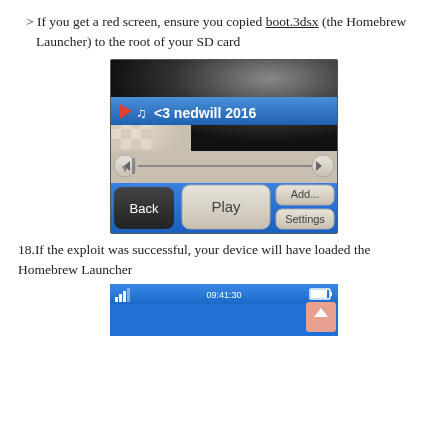> If you get a red screen, ensure you copied boot.3dsx (the Homebrew Launcher) to the root of your SD card
[Figure (screenshot): Screenshot of a 3DS application showing a music player interface with blue header bar displaying a play/pause icon, music note icon, and text '<3 nedwill 2016'. Below is a textured background with a progress bar, and buttons labeled Back, Play, Add..., and Settings.]
18.If the exploit was successful, your device will have loaded the Homebrew Launcher
[Figure (screenshot): Partial screenshot of a 3DS Homebrew Launcher showing a blue top bar with signal bars on the left, time '09:41:30' in the center, and battery icon on the right. The main area is blue.]